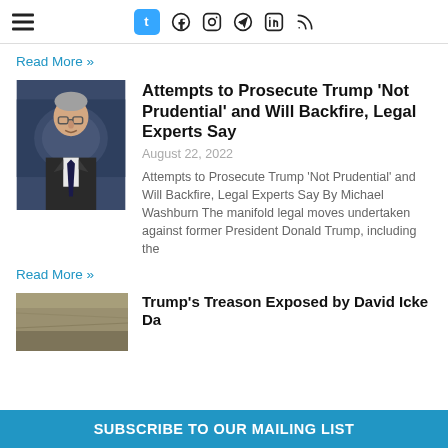Navigation header with hamburger menu and social icons: Tumblr, Facebook, Instagram, Telegram, LinkedIn, RSS
Read More »
[Figure (photo): Photo of a man in a suit speaking at a podium with a blue background]
Attempts to Prosecute Trump 'Not Prudential' and Will Backfire, Legal Experts Say
August 22, 2022
Attempts to Prosecute Trump 'Not Prudential' and Will Backfire, Legal Experts Say By Michael Washburn The manifold legal moves undertaken against former President Donald Trump, including the
Read More »
[Figure (photo): Partial photo visible at bottom, appears to be an outdoor scene]
Trump's Treason Exposed by David Icke Da
SUBSCRIBE TO OUR MAILING LIST